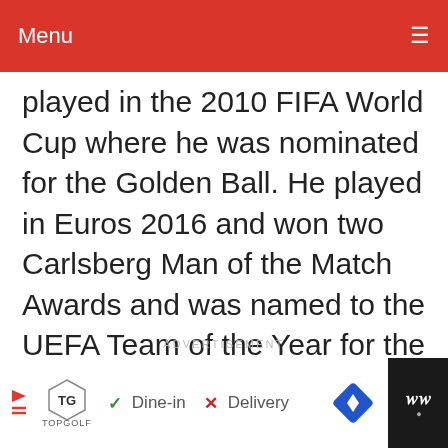Menu
played in the 2010 FIFA World Cup where he was nominated for the Golden Ball. He played in Euros 2016 and won two Carlsberg Man of the Match Awards and was named to the UEFA Team of the Year for the Tournament. He was part of the winning squad at the 2014 World Cup. He also played in the Euro 2016 and the 2018 FIFA World Cup.
ADVERTISEMENT
[Figure (screenshot): Advertisement bar showing TopGolf logo, Dine-in and Delivery options, navigation diamond icon, and WW logo on dark background]